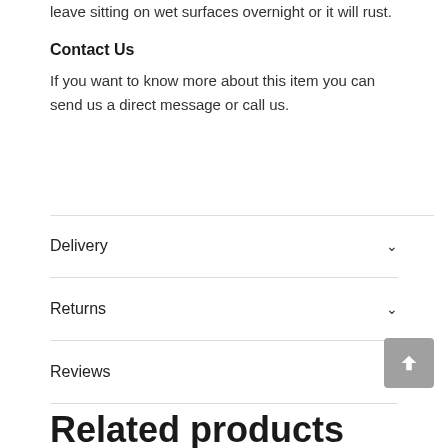that you rush up and dry your equipment. Do not leave sitting on wet surfaces overnight or it will rust.
Contact Us
If you want to know more about this item you can send us a direct message or call us.
Delivery
Returns
Reviews
Related products